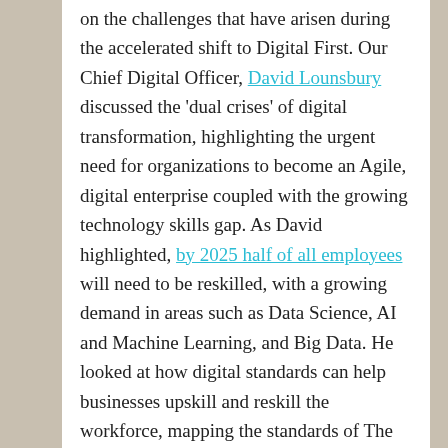on the challenges that have arisen during the accelerated shift to Digital First. Our Chief Digital Officer, David Lounsbury discussed the 'dual crises' of digital transformation, highlighting the urgent need for organizations to become an Agile, digital enterprise coupled with the growing technology skills gap. As David highlighted, by 2025 half of all employees will need to be reskilled, with a growing demand in areas such as Data Science, AI and Machine Learning, and Big Data. He looked at how digital standards can help businesses upskill and reskill the workforce, mapping the standards of The Open Group to critical job roles.
Speakers throughout the day explored this topic